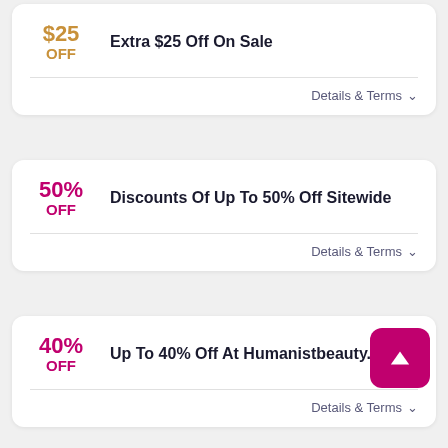$25 OFF
Extra $25 Off On Sale
Details & Terms
50% OFF
Discounts Of Up To 50% Off Sitewide
Details & Terms
40% OFF
Up To 40% Off At Humanistbeauty.com
Details & Terms
[Figure (illustration): Back to top button — magenta rounded square with white upward triangle arrow]